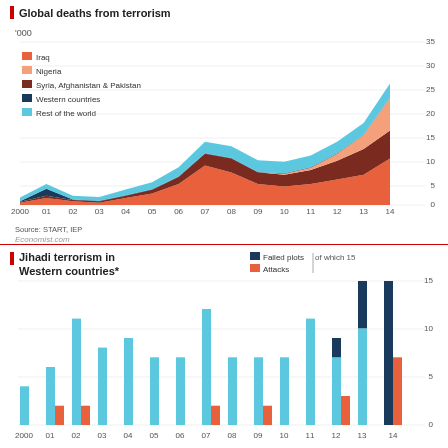Global deaths from terrorism
'000
[Figure (area-chart): Global deaths from terrorism]
Source: START, IEP
Economist.com
Jihadi terrorism in Western countries*
[Figure (grouped-bar-chart): Jihadi terrorism in Western countries*]